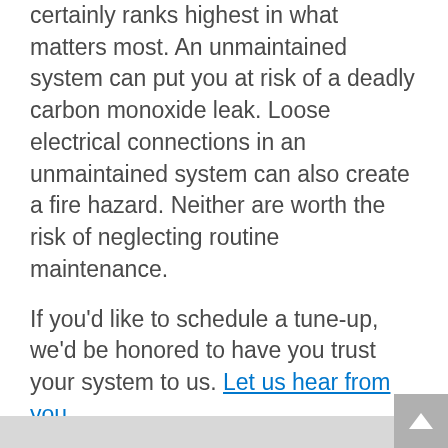may be the last 'cost' in this list, but certainly ranks highest in what matters most. An unmaintained system can put you at risk of a deadly carbon monoxide leak. Loose electrical connections in an unmaintained system can also create a fire hazard. Neither are worth the risk of neglecting routine maintenance.
If you'd like to schedule a tune-up, we'd be honored to have you trust your system to us. Let us hear from you.